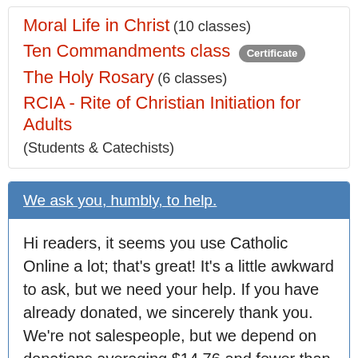Moral Life in Christ (10 classes)
Ten Commandments class [Certificate]
The Holy Rosary (6 classes)
RCIA - Rite of Christian Initiation for Adults
(Students & Catechists)
We ask you, humbly, to help.
Hi readers, it seems you use Catholic Online a lot; that's great! It's a little awkward to ask, but we need your help. If you have already donated, we sincerely thank you. We're not salespeople, but we depend on donations averaging $14.76 and fewer than